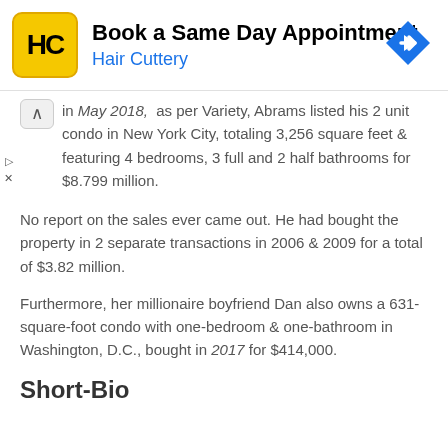[Figure (other): Hair Cuttery advertisement banner with yellow logo, 'Book a Same Day Appointment' heading, blue 'Hair Cuttery' subtitle, and blue diamond navigation arrow icon on right]
in May 2018, as per Variety, Abrams listed his 2 unit condo in New York City, totaling 3,256 square feet & featuring 4 bedrooms, 3 full and 2 half bathrooms for $8.799 million.
No report on the sales ever came out. He had bought the property in 2 separate transactions in 2006 & 2009 for a total of $3.82 million.
Furthermore, her millionaire boyfriend Dan also owns a 631-square-foot condo with one-bedroom & one-bathroom in Washington, D.C., bought in 2017 for $414,000.
Short-Bio